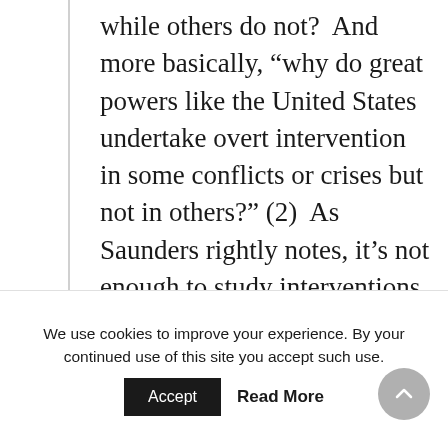while others do not?  And more basically, “why do great powers like the United States undertake overt intervention in some conflicts or crises but not in others?” (2)  As Saunders rightly notes, it’s not enough to study interventions that occurred; we should also examine those that might have occurred but did not.
We use cookies to improve your experience. By your continued use of this site you accept such use.